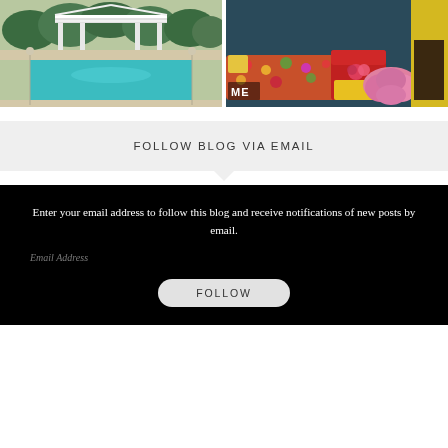[Figure (photo): Left: outdoor swimming pool with white gazebo/pergola structure surrounded by greenery. Right: colorful interior living room with floral sofa, red chair, pink ottomans, and bright decor.]
FOLLOW BLOG VIA EMAIL
Enter your email address to follow this blog and receive notifications of new posts by email.
Email Address
FOLLOW